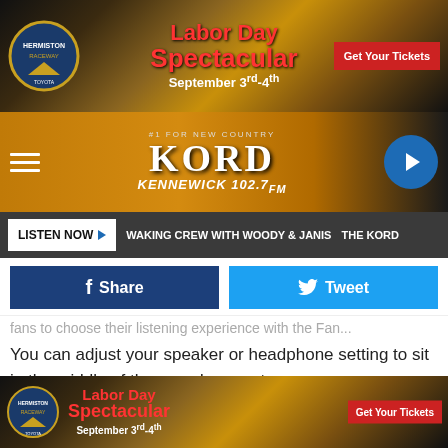[Figure (photo): Hermiston Raceway Labor Day Spectacular advertisement banner - September 3rd-4th with Get Your Tickets button]
[Figure (logo): KORD 102.7 FM radio station header - #1 for New Country, with hamburger menu and play button]
LISTEN NOW  WAKING CREW WITH WOODY & JANIS  THE KORD
[Figure (other): Facebook Share button and Twitter Tweet button]
fans to choose their listening experience with the Fan...
You can adjust your speaker or headphone setting to sit in the middle of the crowd or on stage.
Brooks' current single is called "All Day Long."
Garth Brooks' Triple Live Album(s) Track Listing:
Disc 1
[Figure (photo): Hermiston Raceway Labor Day Spectacular advertisement banner at bottom - September 3rd-4th with Get Your Tickets button]